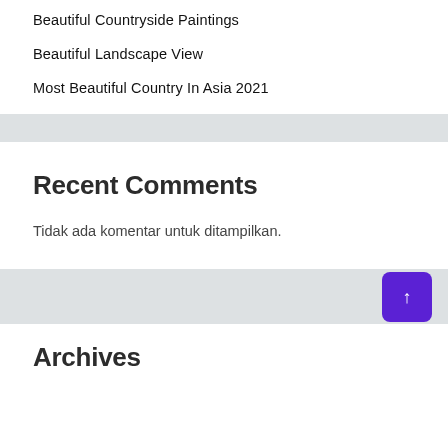Beautiful Countryside Paintings
Beautiful Landscape View
Most Beautiful Country In Asia 2021
Recent Comments
Tidak ada komentar untuk ditampilkan.
Archives